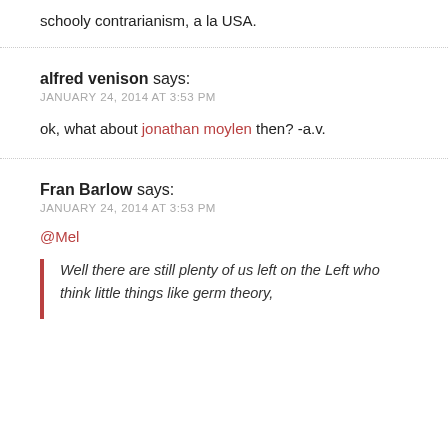schooly contrarianism, a la USA.
alfred venison says:
JANUARY 24, 2014 AT 3:53 PM

ok, what about jonathan moylen then? -a.v.
Fran Barlow says:
JANUARY 24, 2014 AT 3:53 PM

@Mel

Well there are still plenty of us left on the Left who think little things like germ theory,